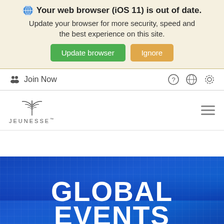Your web browser (iOS 11) is out of date. Update your browser for more security, speed and the best experience on this site.
[Figure (screenshot): Browser update banner with 'Update browser' green button and 'Ignore' orange button]
Join Now
[Figure (logo): Jeunesse logo with stylized plant/fountain icon and JEUNESSE text]
[Figure (screenshot): Hamburger menu icon (three horizontal lines)]
GLOBAL EVENTS